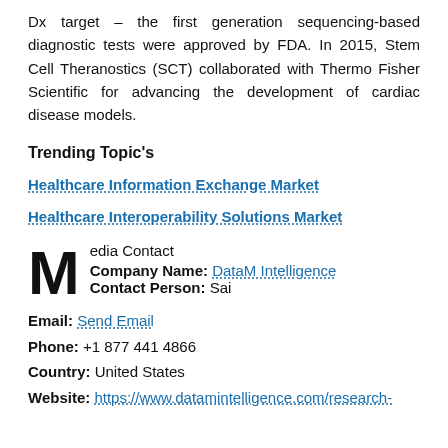Dx target – the first generation sequencing-based diagnostic tests were approved by FDA. In 2015, Stem Cell Theranostics (SCT) collaborated with Thermo Fisher Scientific for advancing the development of cardiac disease models.
Trending Topic's
Healthcare Information Exchange Market
Healthcare Interoperability Solutions Market
Media Contact
Company Name: DataM Intelligence
Contact Person: Sai
Email: Send Email
Phone: +1 877 441 4866
Country: United States
Website: https://www.datamintelligence.com/research-